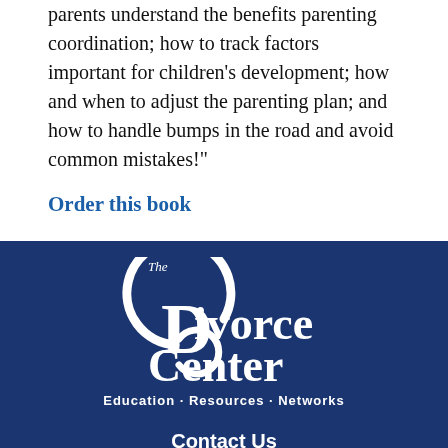parents understand the benefits parenting coordination; how to track factors important for children's development; how and when to adjust the parenting plan; and how to handle bumps in the road and avoid common mistakes!"
Order this book
[Figure (logo): The Divorce Center logo with circular swoosh design. White text on dark blue background. Tagline: Education · Resources · Networks]
Contact Us
Phone: (617) 614-8020
Email: info@thedivorcecenter.org
[Figure (other): App store buttons: Available on the App Store and Get it on Google Play]